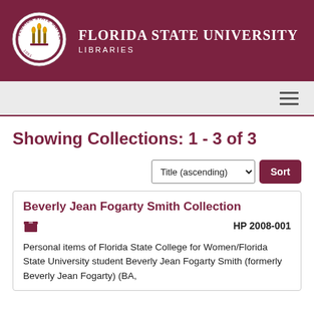[Figure (logo): Florida State University Libraries header with circular university seal (1851) and text 'FLORIDA STATE UNIVERSITY LIBRARIES' on dark maroon background]
FLORIDA STATE UNIVERSITY LIBRARIES
Showing Collections: 1 - 3 of 3
Title (ascending) Sort
Beverly Jean Fogarty Smith Collection
HP 2008-001
Personal items of Florida State College for Women/Florida State University student Beverly Jean Fogarty Smith (formerly Beverly Jean Fogarty) (BA,